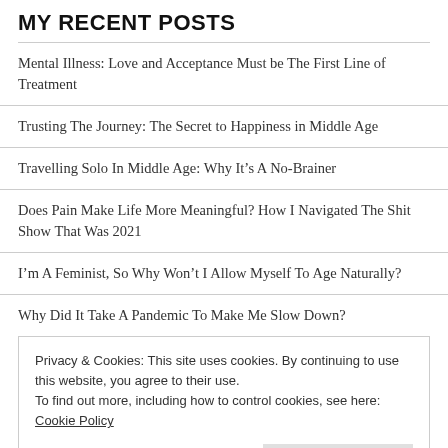MY RECENT POSTS
Mental Illness: Love and Acceptance Must be The First Line of Treatment
Trusting The Journey: The Secret to Happiness in Middle Age
Travelling Solo In Middle Age: Why It’s A No-Brainer
Does Pain Make Life More Meaningful? How I Navigated The Shit Show That Was 2021
I’m A Feminist, So Why Won’t I Allow Myself To Age Naturally?
Why Did It Take A Pandemic To Make Me Slow Down?
Privacy & Cookies: This site uses cookies. By continuing to use this website, you agree to their use. To find out more, including how to control cookies, see here: Cookie Policy